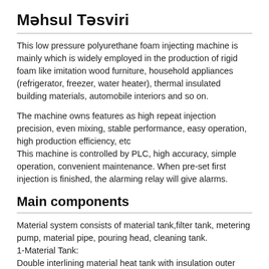Məhsul Təsviri
This low pressure polyurethane foam injecting machine is mainly which is widely employed in the production of rigid foam like imitation wood furniture, household appliances (refrigerator, freezer, water heater), thermal insulated building materials, automobile interiors and so on.
The machine owns features as high repeat injection precision, even mixing, stable performance, easy operation, high production efficiency, etc
This machine is controlled by PLC, high accuracy, simple operation, convenient maintenance. When pre-set first injection is finished, the alarming relay will give alarms.
Main components
Material system consists of material tank,filter tank, metering pump, material pipe, pouring head, cleaning tank.
1-Material Tank:
Double interlining material heat tank with insulation outer layer,